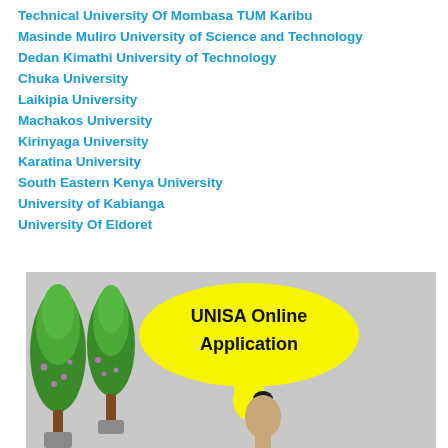Technical University Of Mombasa TUM Karibu
Masinde Muliro University of Science and Technology
Dedan Kimathi University of Technology
Chuka University
Laikipia University
Machakos University
Kirinyaga University
Karatina University
South Eastern Kenya University
University of Kabianga
University Of Eldoret
[Figure (photo): Photo of a person holding a yellow speech bubble sign reading 'UNISA Online Application', with decorative green topiary trees on the left side, set against a grey background.]